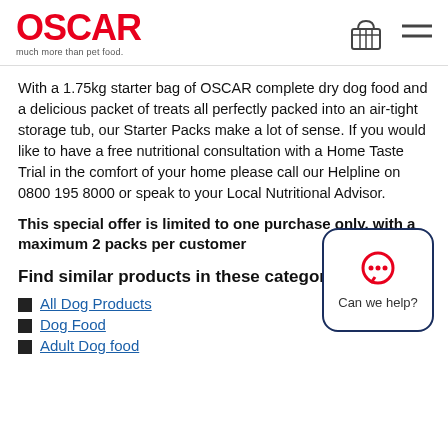OSCAR much more than pet food.
With a 1.75kg starter bag of OSCAR complete dry dog food and a delicious packet of treats all perfectly packed into an air-tight storage tub, our Starter Packs make a lot of sense. If you would like to have a free nutritional consultation with a Home Taste Trial in the comfort of your home please call our Helpline on 0800 195 8000 or speak to your Local Nutritional Advisor.
This special offer is limited to one purchase only, with a maximum 2 packs per customer
Find similar products in these categories
All Dog Products
Dog Food
Adult Dog food
[Figure (other): Can we help? chat widget button with speech bubble icon]